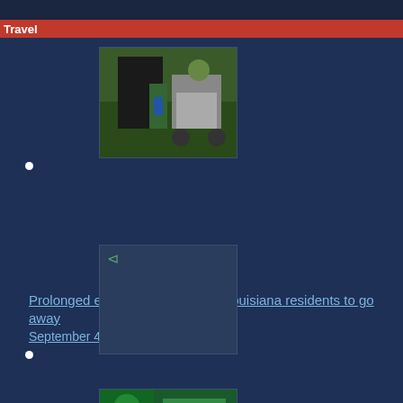Travel
[Figure (photo): Person loading items into a vehicle, outdoor scene]
Prolonged energy outages push Louisiana residents to go away
September 4, 2021 0
[Figure (photo): Small broken image placeholder]
How main US inventory indexes fared Friday
September 3, 2021 0
[Figure (photo): Green vehicle with people, outdoor scene]